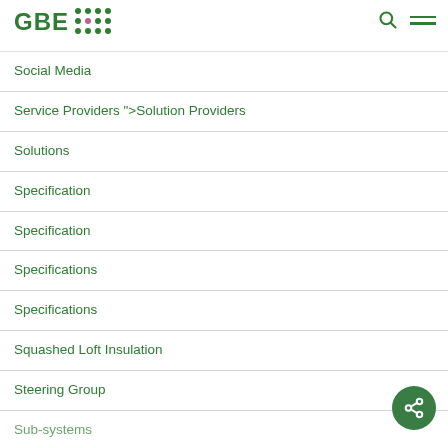GBE [logo with dots]
Social Media
Service Providers ">Solution Providers
Solutions
Specification
Specification
Specifications
Specifications
Squashed Loft Insulation
Steering Group
Sub-systems